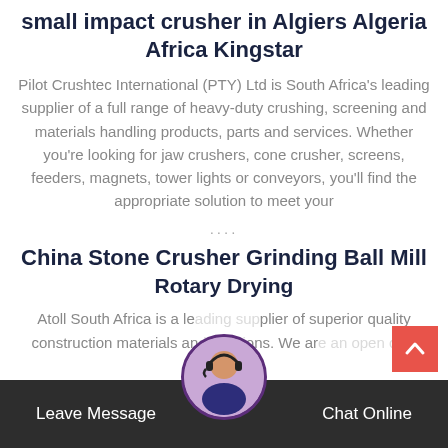small impact crusher in Algiers Algeria Africa Kingstar
Pilot Crushtec International (PTY) Ltd is South Africa's leading supplier of a full range of heavy-duty crushing, screening and materials handling products, parts and services. Whether you're looking for jaw crushers, cone crusher, screens, feeders, magnets, tower lights or conveyors, you'll find the appropriate solution to meet your
....
China Stone Crusher Grinding Ball Mill Rotary Drying
Atoll South Africa is a leading supplier of superior quality construction materials and solutions. We are an open cast
Leave Message   Chat Online